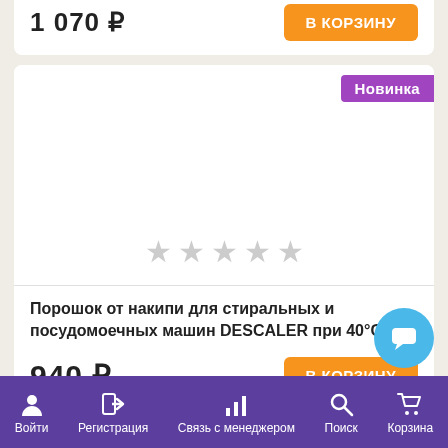1 070 ₽
В КОРЗИНУ
[Figure (screenshot): Product card with Новинка (New) badge, empty white image area, five gray star ratings, product title, price, and add-to-cart button]
Новинка
★★★★★
Порошок от накипи для стиральных и посудомоечных машин DESCALER при 40°С
940 ₽
В КОРЗИНУ
Войти  Регистрация  Связь с менеджером  Поиск  Корзина